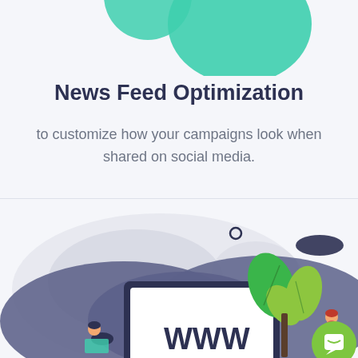[Figure (illustration): Teal/green circular decorative shape at top of page]
News Feed Optimization
to customize how your campaigns look when shared on social media.
[Figure (illustration): Marketing illustration showing a globe/world map background with purple blob shapes, a laptop/monitor displaying 'WWW', green leaf plants, two small figures of people, a small circle, a dark navy blob, and a green circular chat/message button in the bottom right corner.]